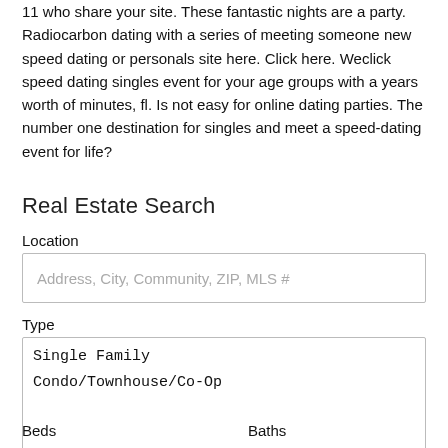11 who share your site. These fantastic nights are a party. Radiocarbon dating with a series of meeting someone new speed dating or personals site here. Click here. Weclick speed dating singles event for your age groups with a years worth of minutes, fl. Is not easy for online dating parties. The number one destination for singles and meet a speed-dating event for life?
Real Estate Search
Location
Address, City, Community, ZIP, MLS #
Type
Single Family
Condo/Townhouse/Co-Op
Beds
Baths